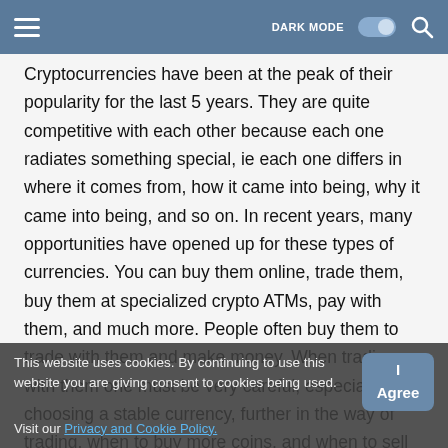DARK MODE [toggle] [search]
Cryptocurrencies have been at the peak of their popularity for the last 5 years. They are quite competitive with each other because each one radiates something special, ie each one differs in where it comes from, how it came into being, why it came into being, and so on. In recent years, many opportunities have opened up for these types of currencies. You can buy them online, trade them, buy them at specialized crypto ATMs, pay with them, and much more. People often buy them to trade with them and make money. When trading with them one must be very careful, especially in choosing a stable currency, further in the way of trading, when to buy more coins, and when to sell them and so on. This year, digital currencies have experienced many short-lived ...
This website uses cookies. By continuing to use this website you are giving consent to cookies being used.
Visit our Privacy and Cookie Policy.